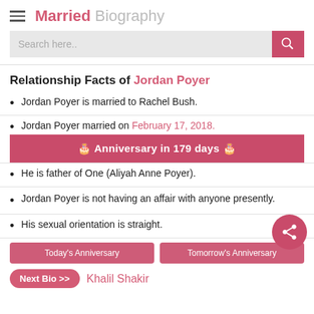Married Biography
Search here..
Relationship Facts of Jordan Poyer
Jordan Poyer is married to Rachel Bush.
Jordan Poyer married on February 17, 2018.
🎂 Anniversary in 179 days 🎂
He is father of One (Aliyah Anne Poyer).
Jordan Poyer is not having an affair with anyone presently.
His sexual orientation is straight.
Today's Anniversary
Tomorrow's Anniversary
Next Bio >> Khalil Shakir